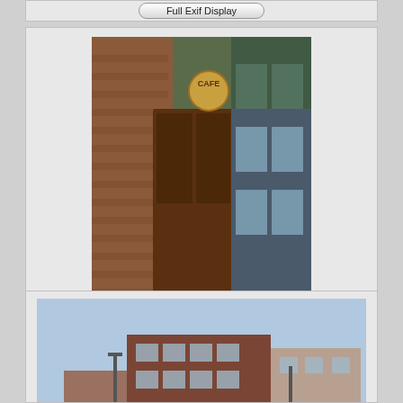[Figure (photo): Partial top of a card visible at top of page with a rounded button]
[Figure (photo): Photo of a cafe storefront with brick walls, wooden door, and a cafe sign hanging outside]
YR0992305.JPG
YR0992305.DNG
6,556,591 bytes
3264x4928
1/40 sec
f4.0
0.0 EV
18.3 mm focal length
ISO 500
Full Exif Display
[Figure (photo): Photo of a city square or downtown area with multi-story brick buildings, a plaza, and a street lamp]